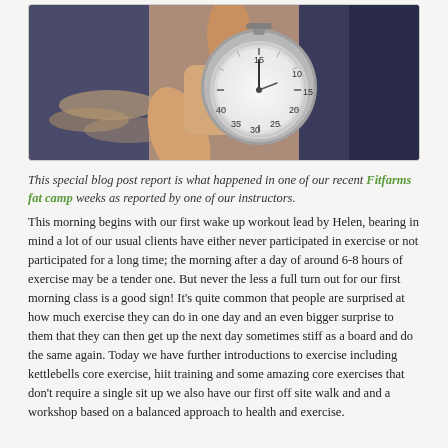[Figure (photo): Close-up photo of a hand holding a stopwatch/timer, with blurred items in the background]
This special blog post report is what happened in one of our recent Fitfarms fat camp weeks as reported by one of our instructors.
This morning begins with our first wake up workout lead by Helen, bearing in mind a lot of our usual clients have either never participated in exercise or not participated for a long time; the morning after a day of around 6-8 hours of exercise may be a tender one. But never the less a full turn out for our first morning class is a good sign! It's quite common that people are surprised at how much exercise they can do in one day and an even bigger surprise to them that they can then get up the next day sometimes stiff as a board and do the same again. Today we have further introductions to exercise including kettlebells core exercise, hiit training and some amazing core exercises that don't require a single sit up we also have our first off site walk and and a workshop based on a balanced approach to health and exercise.